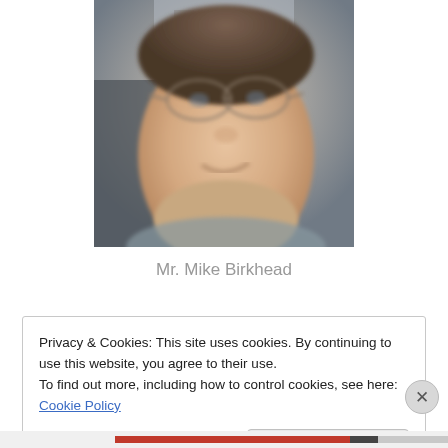[Figure (photo): A close-up photograph of a man named Mr. Mike Birkhead wearing glasses, smiling, with a blurred background.]
Mr. Mike Birkhead
Privacy & Cookies: This site uses cookies. By continuing to use this website, you agree to their use.
To find out more, including how to control cookies, see here: Cookie Policy
Close and accept